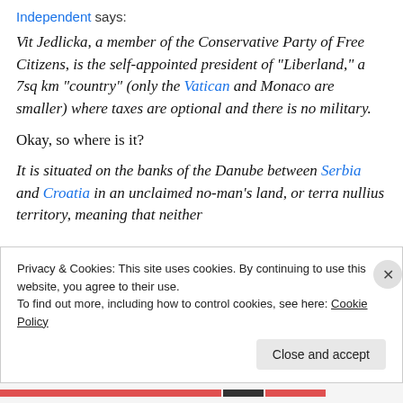Independent says:
Vit Jedlicka, a member of the Conservative Party of Free Citizens, is the self-appointed president of "Liberland," a 7sq km "country" (only the Vatican and Monaco are smaller) where taxes are optional and there is no military.
Okay, so where is it?
It is situated on the banks of the Danube between Serbia and Croatia in an unclaimed no-man’s land, or terra nullius territory, meaning that neither
Privacy & Cookies: This site uses cookies. By continuing to use this website, you agree to their use.
To find out more, including how to control cookies, see here: Cookie Policy
Close and accept